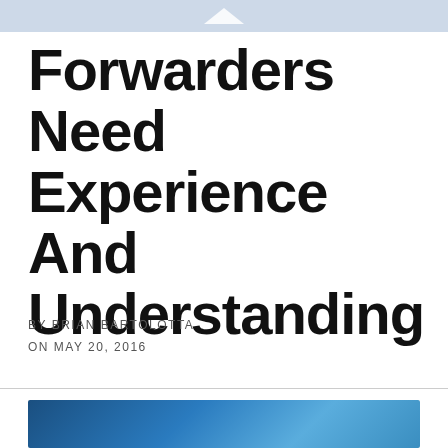Forwarders Need Experience And Understanding
BY BRIAN BARTOLOTTA
ON MAY 20, 2016
[Figure (photo): Partial image visible at bottom of page, appears to be a blue ocean or sky photograph]